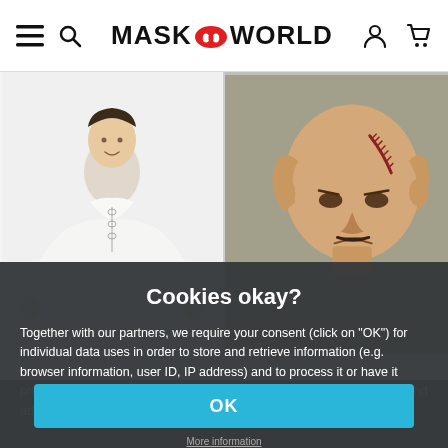MASK WORLD navigation header with hamburger menu, search, logo, account and cart icons
[Figure (photo): Man wearing a white pirate-style lace-up shirt with ruffled sleeves, smiling against white background]
[Figure (photo): Bald man with realistic stitched wound makeup on his head, looking pained, holding his head with both hands]
Cookies okay?
Together with our partners, we require your consent (click on "OK") for individual data uses in order to store and retrieve information (e.g. browser information, user ID, IP address) and to process it or have it processed. The data usage is for personalised functionalities, content and ads
OK
More information